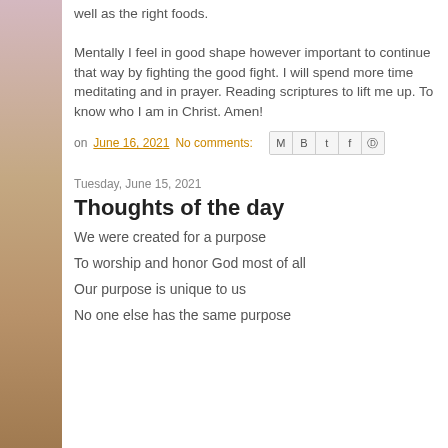well as the right foods.

Mentally I feel in good shape however important to continue that way by fighting the good fight. I will spend more time meditating and in prayer. Reading scriptures to lift me up. To know who I am in Christ. Amen!
on June 16, 2021   No comments:
Tuesday, June 15, 2021
Thoughts of the day
We were created for a purpose
To worship and honor God most of all
Our purpose is unique to us
No one else has the same purpose